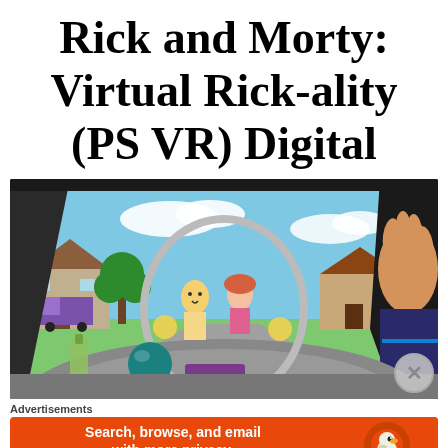Rick and Morty: Virtual Rick-ality (PS VR) Digital
[Figure (screenshot): Screenshot from Rick and Morty: Virtual Rick-ality VR game showing first-person view inside Rick's spaceship cockpit, with Morty and Summer visible outside through the windshield, suburban neighborhood in background, player's hand visible on right holding spaceship controls, and a bottle in the lower left]
Advertisements
[Figure (infographic): DuckDuckGo advertisement banner with orange background. Left side text: 'Search, browse, and email with more privacy. All in One Free App'. Right side shows DuckDuckGo duck logo and brand name.]